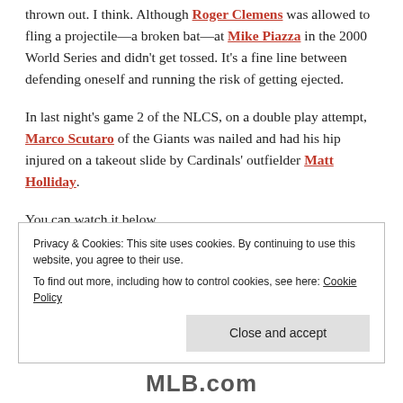thrown out. I think. Although Roger Clemens was allowed to fling a projectile—a broken bat—at Mike Piazza in the 2000 World Series and didn't get tossed. It's a fine line between defending oneself and running the risk of getting ejected.
In last night's game 2 of the NLCS, on a double play attempt, Marco Scutaro of the Giants was nailed and had his hip injured on a takeout slide by Cardinals' outfielder Matt Holliday.
You can watch it below.
Privacy & Cookies: This site uses cookies. By continuing to use this website, you agree to their use. To find out more, including how to control cookies, see here: Cookie Policy
Close and accept
MLB.com